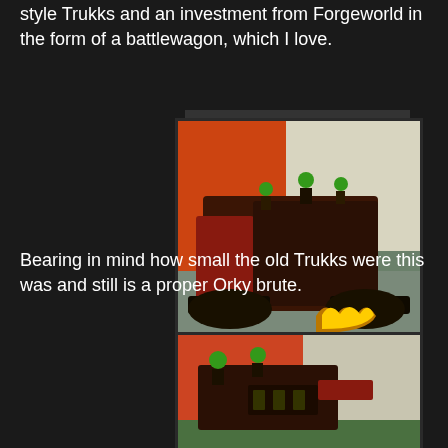style Trukks and an investment from Forgeworld in the form of a battlewagon, which I love.
[Figure (photo): A painted Warhammer 40K Ork Battlewagon miniature, a large dark red and brown tracked vehicle with small Ork figures on top and flame detailing on the front, photographed on a grey gaming mat]
Bearing in mind how small the old Trukks were this was and still is a proper Orky brute.
[Figure (photo): Partial view of another painted Ork vehicle miniature, showing green Ork figures and dark vehicle body on a green gaming surface]